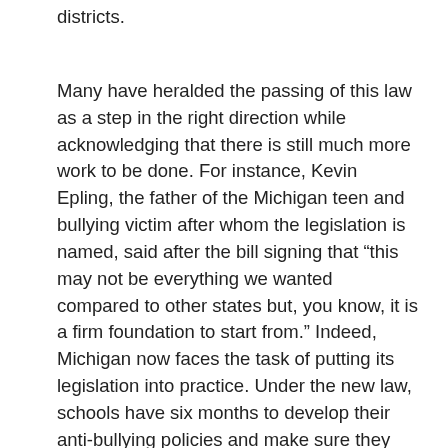districts.
Many have heralded the passing of this law as a step in the right direction while acknowledging that there is still much more work to be done. For instance, Kevin Epling, the father of the Michigan teen and bullying victim after whom the legislation is named, said after the bill signing that “this may not be everything we wanted compared to other states but, you know, it is a firm foundation to start from.” Indeed, Michigan now faces the task of putting its legislation into practice. Under the new law, schools have six months to develop their anti-bullying policies and make sure they are in place for the beginning of the 2012-2013 school year. As individual schools develop their policies, they should take seriously the opportunity to fill in many of the gaps left in the official legislation. Each school community can send a strong message by not just creating an anti-bullying policy, but